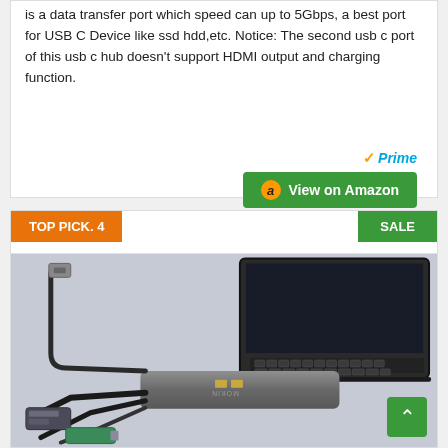is a data transfer port which speed can up to 5Gbps, a best port for USB C Device like ssd hdd,etc. Notice: The second usb c port of this usb c hub doesn't support HDMI output and charging function.
[Figure (logo): Amazon Prime logo with checkmark and 'Prime' text in blue italic]
[Figure (other): Green 'View on Amazon' button with Amazon 'a' logo icon]
TOP PICK. 4
SALE
[Figure (photo): Photo of a USB-C hub (branded MOKIN) connected to a laptop, with multiple cables including ethernet, USB devices plugged in, on a dark background]